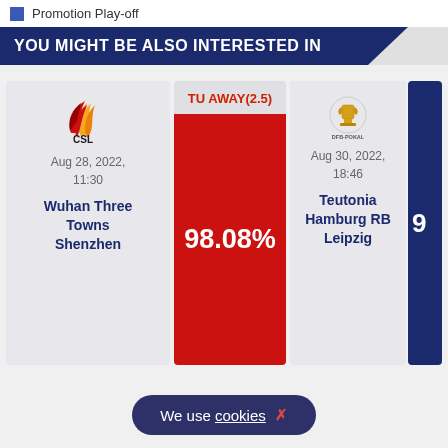Promotion Play-off
YOU MIGHT BE ALSO INTERESTED IN
[Figure (logo): CSL (Chinese Super League) logo - red and gold flame/wave design with CSL text]
Aug 28, 2022, 11:30
Wuhan Three Towns Shenzhen
TU AWAY(2.5)
98.08%
[Figure (logo): DFB-Pokal logo - trophy cup on circular emblem]
Aug 30, 2022, 18:46
Teutonia Hamburg RB Leipzig
9
We use cookies ×